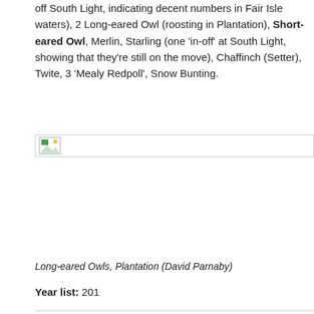off South Light, indicating decent numbers in Fair Isle waters), 2 Long-eared Owl (roosting in Plantation), Short-eared Owl, Merlin, Starling (one 'in-off' at South Light, showing that they're still on the move), Chaffinch (Setter), Twite, 3 'Mealy Redpoll', Snow Bunting.
[Figure (photo): Image placeholder showing a broken/loading image icon, likely a photo of Long-eared Owls in the Plantation]
Long-eared Owls, Plantation (David Parnaby)
Year list: 201